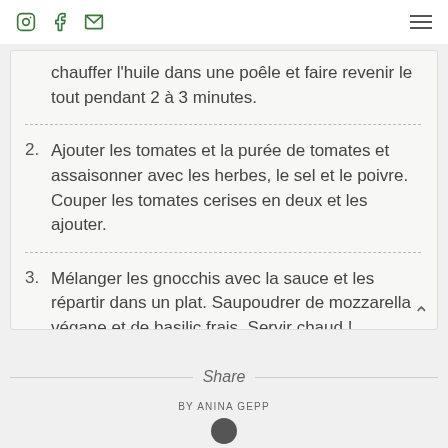Instagram, Facebook, Email icons | Hamburger menu
chauffer l'huile dans une poêle et faire revenir le tout pendant 2 à 3 minutes.
2. Ajouter les tomates et la purée de tomates et assaisonner avec les herbes, le sel et le poivre. Couper les tomates cerises en deux et les ajouter.
3. Mélanger les gnocchis avec la sauce et les répartir dans un plat. Saupoudrer de mozzarella végane et de basilic frais. Servir chaud !
Share
BY ANINA GEPP